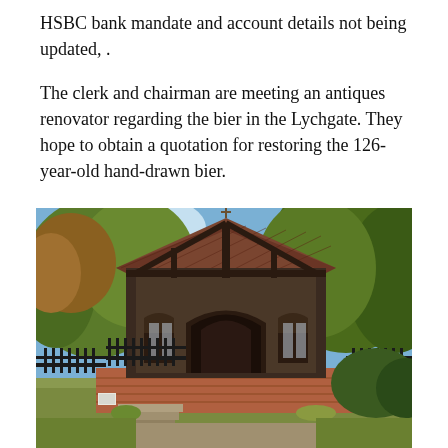HSBC bank mandate and account details not being updated, .
The clerk and chairman are meeting an antiques renovator regarding the bier in the Lychgate. They hope to obtain a quotation for restoring the 126-year-old hand-drawn bier.
[Figure (photo): Photograph of a historic Lychgate — a traditional wooden roofed church gate structure with a steep tiled roof, decorative timber framing with a pointed Gothic arch entrance, arched wooden door, wrought iron gate in front, brick base, surrounded by large green trees in autumn foliage and trimmed hedges.]